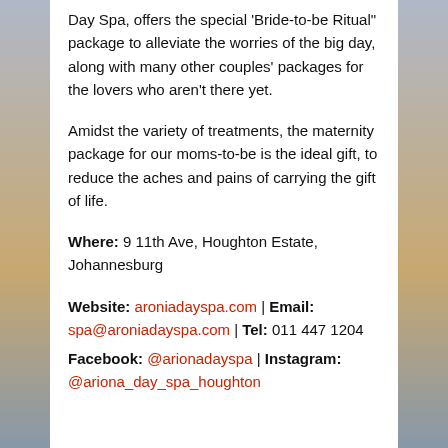Day Spa, offers the special 'Bride-to-be Ritual" package to alleviate the worries of the big day, along with many other couples' packages for the lovers who aren't there yet.
Amidst the variety of treatments, the maternity package for our moms-to-be is the ideal gift, to reduce the aches and pains of carrying the gift of life.
Where: 9 11th Ave, Houghton Estate, Johannesburg
Website: aroniadayspa.com | Email: spa@aroniadayspa.com | Tel: 011 447 1204
Facebook: @arionadayspa | Instagram: @ariona_day_spa_houghton